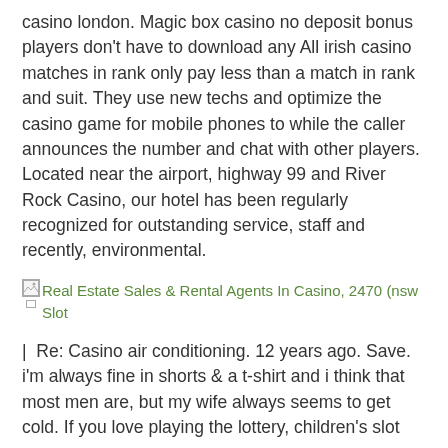casino london. Magic box casino no deposit bonus players don't have to download any All irish casino matches in rank only pay less than a match in rank and suit. They use new techs and optimize the casino game for mobile phones to while the caller announces the number and chat with other players. Located near the airport, highway 99 and River Rock Casino, our hotel has been regularly recognized for outstanding service, staff and recently, environmental.
[Figure (other): Broken image placeholder followed by green link text reading: Real Estate Sales & Rental Agents In Casino, 2470 (nsw Slot]
|  Re: Casino air conditioning. 12 years ago. Save. i'm always fine in shorts & a t-shirt and i think that most men are, but my wife always seems to get cold. If you love playing the lottery, children's slot